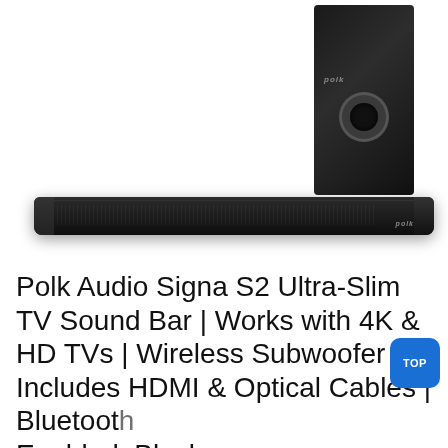[Figure (photo): Polk Audio Signa S2 soundbar and wireless subwoofer product photo on white background. The black soundbar is long and slim positioned horizontally at bottom; the black subwoofer is upright on the right side.]
Polk Audio Signa S2 Ultra-Slim TV Sound Bar | Works with 4K & HD TVs | Wireless Subwoofer | Includes HDMI & Optical Cables | Bluetooth Enabled, Black